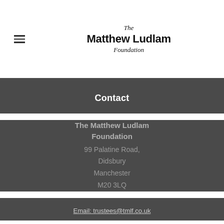The Matthew Ludlam Foundation
Contact
The Matthew Ludlam Foundation
99 Palatine Road,
Didsbury
Manchester
M20 3LQ
Email: trustees@tmlf.co.uk